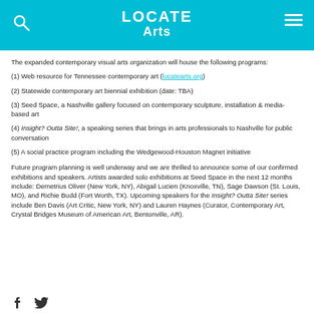LOCATE Arts
The expanded contemporary visual arts organization will house the following programs:
(1) Web resource for Tennessee contemporary art (locatearts.org)
(2) Statewide contemporary art biennial exhibition (date: TBA)
(3) Seed Space, a Nashville gallery focused on contemporary sculpture, installation & media-based art
(4) Insight? Outta Site!, a speaking series that brings in arts professionals to Nashville for public conversation
(5) A social practice program including the Wedgewood-Houston Magnet initiative
Future program planning is well underway and we are thrilled to announce some of our confirmed exhibitions and speakers. Artists awarded solo exhibitions at Seed Space in the next 12 months include: Demetrius Oliver (New York, NY), Abigail Lucien (Knoxville, TN), Sage Dawson (St. Louis, MO), and Richie Budd (Fort Worth, TX). Upcoming speakers for the Insight? Outta Site! series include Ben Davis (Art Critic, New York, NY) and Lauren Haynes (Curator, Contemporary Art, Crystal Bridges Museum of American Art, Bentonville, AR).
social media icons